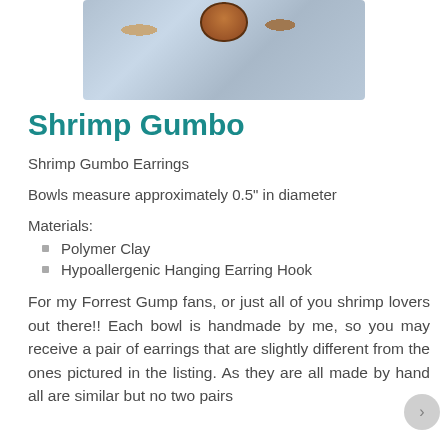[Figure (photo): Photo of a shrimp gumbo bowl earring placed on a light blue water-ripple textured background. The bowl appears small with dark reddish-brown contents.]
Shrimp Gumbo
Shrimp Gumbo Earrings
Bowls measure approximately 0.5" in diameter
Materials:
Polymer Clay
Hypoallergenic Hanging Earring Hook
For my Forrest Gump fans, or just all of you shrimp lovers out there!! Each bowl is handmade by me, so you may receive a pair of earrings that are slightly different from the ones pictured in the listing. As they are all made by hand all are similar but no two pairs